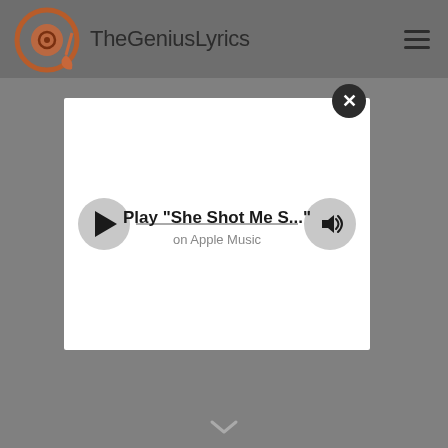[Figure (logo): TheGeniusLyrics website logo: circular icon with headphones/music note design in orange/brown colors, followed by site name text]
[Figure (screenshot): Apple Music player modal popup with play button, progress bar, volume button, showing 'Play She Shot Me S...' on Apple Music, with close (X) button in top right corner]